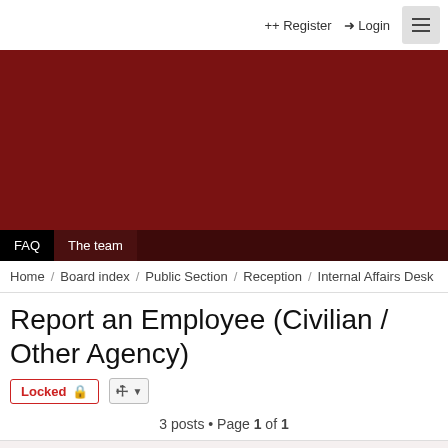Register  Login
[Figure (other): Dark red banner/header image for forum website]
FAQ  The team
Home / Board index / Public Section / Reception / Internal Affairs Desk
Report an Employee (Civilian / Other Agency)
Locked   [tools]
3 posts • Page 1 of 1
FD Internal Affairs